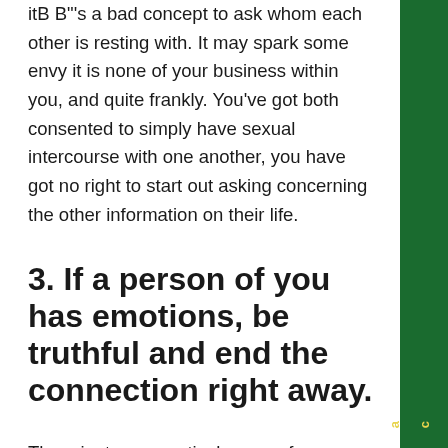itB B"'s a bad concept to ask whom each other is resting with. It may spark some envy it is none of your business within you, and quite frankly. You've got both consented to simply have sexual intercourse with one another, you have got no right to start out asking concerning the other information on their life.
3. If a person of you has emotions, be truthful and end the connection right away.
The minute any particular one of you starts to